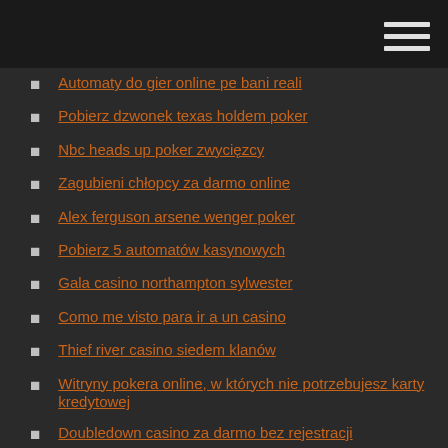Automaty do gier online pe bani reali
Pobierz dzwonek texas holdem poker
Nbc heads up poker zwycięzcy
Zagubieni chłopcy za darmo online
Alex ferguson arsene wenger poker
Pobierz 5 automatów kasynowych
Gala casino northampton sylwester
Como me visto para ir a un casino
Thief river casino siedem klanów
Witryny pokera online, w których nie potrzebujesz karty kredytowej
Doubledown casino za darmo bez rejestracji
Kod promocyjny kasyna online sugar house
Palmas del mar kasyno puerto rico